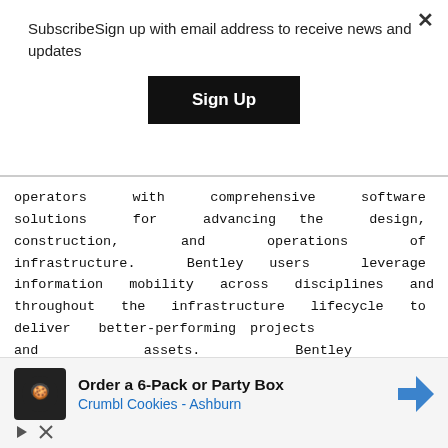SubscribeSign up with email address to receive news and updates
Sign Up
operators with comprehensive software solutions for advancing the design, construction, and operations of infrastructure. Bentley users leverage information mobility across disciplines and throughout the infrastructure lifecycle to deliver better-performing projects and assets. Bentley solutions encompass MicroStation applications for information modeling, ProjectWise collaboration services to deliver integrated projects, and AssetWise operations services to achieve intelligent infrastructure — complemented by comprehensive managed
[Figure (infographic): Advertisement banner for Crumbl Cookies - Ashburn showing order options for 6-Pack or Party Box with logo icon and navigation arrow]